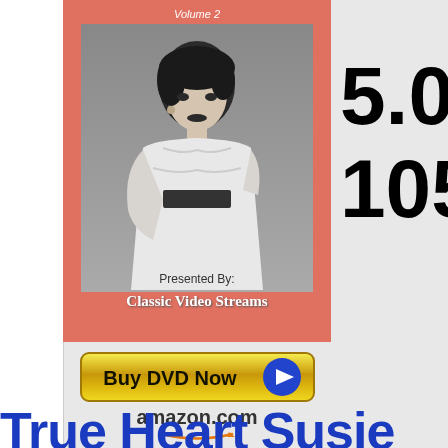[Figure (photo): DVD cover with salmon/coral background featuring a black and white photo of a woman in a white dress. Text reads 'Volume 2' at top, 'Presented By:' and 'Classic Video Streams' at bottom.]
5.00
105
[Figure (other): Buy DVD Now button with yellow gradient and blue play icon arrow, above amazon.com logo with orange smile]
True Heart Susin